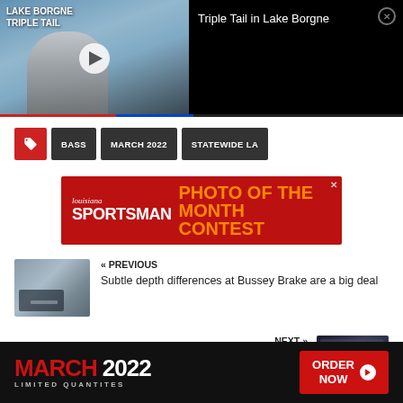[Figure (screenshot): Video thumbnail showing man holding fish with text LAKE BORGNE TRIPLE TAIL, alongside black panel with title Triple Tail in Lake Borgne and close button]
[Figure (screenshot): Navigation tag buttons: red tag icon, BASS, MARCH 2022, STATEWIDE LA]
[Figure (logo): Louisiana Sportsman PHOTO OF THE MONTH CONTEST advertisement banner on red background]
« PREVIOUS
Subtle depth differences at Bussey Brake are a big deal
NEXT »
Bossier City girls are taking it to the high school
[Figure (screenshot): Bottom advertisement banner: MARCH 2022 LIMITED QUANTITES with ORDER NOW button on dark background]